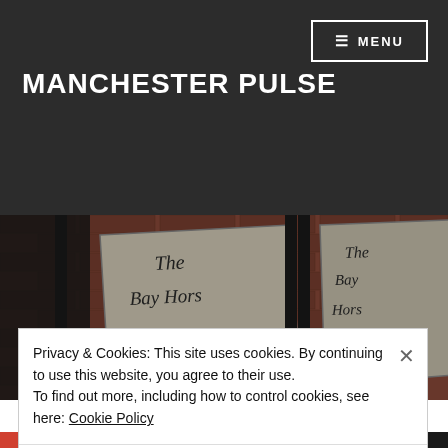MANCHESTER PULSE
MENU
[Figure (photo): Close-up photograph of pub signs reading 'The Bay Horse' mounted on a dark metal frame against a red brick wall. Two angled white/cream signs with embossed serif lettering are visible.]
Privacy & Cookies: This site uses cookies. By continuing to use this website, you agree to their use.
To find out more, including how to control cookies, see here: Cookie Policy
Close and accept